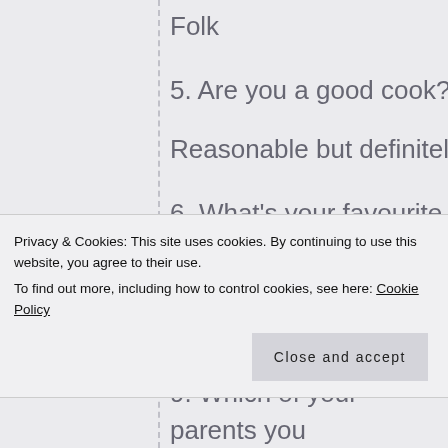Folk
5. Are you a good cook?
Reasonable but definitely second to my wife
6. What's your favourite ice-cream flavour?
Vanilla
7. What's your favourite festival?
Privacy & Cookies: This site uses cookies. By continuing to use this website, you agree to their use.
To find out more, including how to control cookies, see here: Cookie Policy
Close and accept
9. Which of your parents you